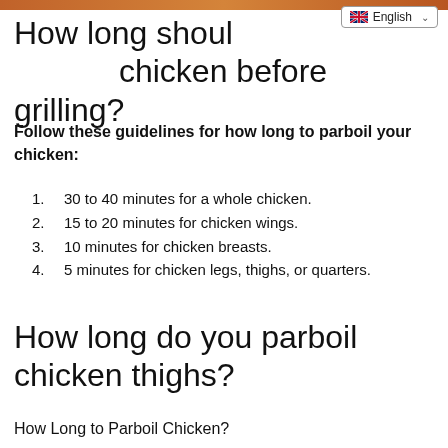How long should you parboil chicken before grilling?
Follow these guidelines for how long to parboil your chicken:
30 to 40 minutes for a whole chicken.
15 to 20 minutes for chicken wings.
10 minutes for chicken breasts.
5 minutes for chicken legs, thighs, or quarters.
How long do you parboil chicken thighs?
How Long to Parboil Chicken?